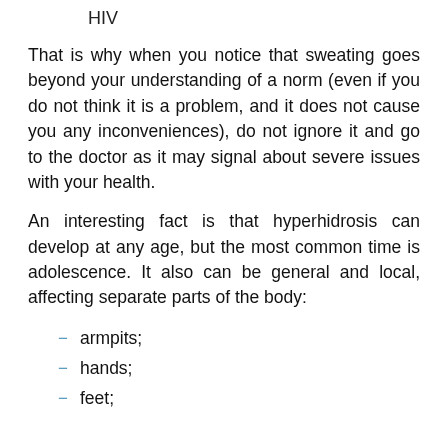HIV
That is why when you notice that sweating goes beyond your understanding of a norm (even if you do not think it is a problem, and it does not cause you any inconveniences), do not ignore it and go to the doctor as it may signal about severe issues with your health.
An interesting fact is that hyperhidrosis can develop at any age, but the most common time is adolescence. It also can be general and local, affecting separate parts of the body:
armpits;
hands;
feet;